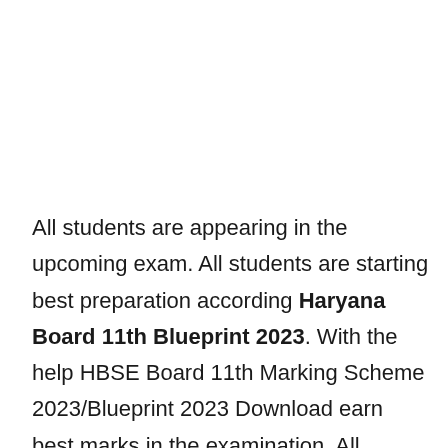All students are appearing in the upcoming exam. All students are starting best preparation according Haryana Board 11th Blueprint 2023. With the help HBSE Board 11th Marking Scheme 2023/Blueprint 2023 Download earn best marks in the examination. All students can download HBSE 11th Marking Scheme...